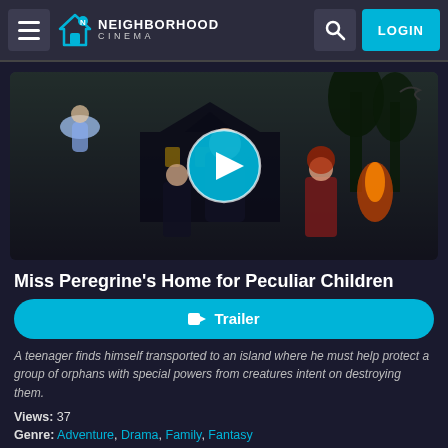Neighborhood Cinema — navigation bar with hamburger menu, logo, search, and LOGIN button
[Figure (photo): Movie banner image for Miss Peregrine's Home for Peculiar Children showing fantasy characters including a woman in black, a girl floating in blue dress, a boy, and others in front of a gothic mansion, with a play button overlay]
Miss Peregrine's Home for Peculiar Children
Trailer button
A teenager finds himself transported to an island where he must help protect a group of orphans with special powers from creatures intent on destroying them.
Views: 37
Genre: Adventure, Drama, Family, Fantasy
Director: Lizzie Pritchard, Tim Burton